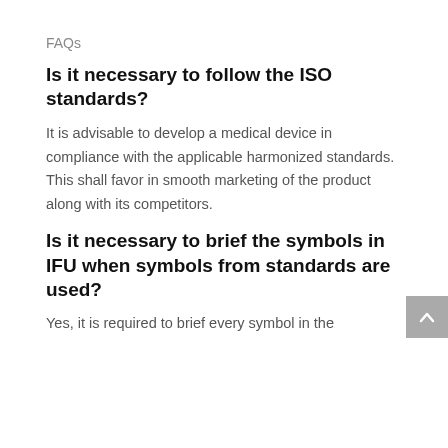…g … p
FAQs
Is it necessary to follow the ISO standards?
It is advisable to develop a medical device in compliance with the applicable harmonized standards. This shall favor in smooth marketing of the product along with its competitors.
Is it necessary to brief the symbols in IFU when symbols from standards are used?
Yes, it is required to brief every symbol in the